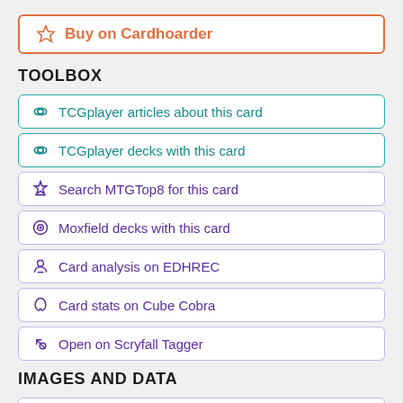Buy on Cardhoarder
TOOLBOX
TCGplayer articles about this card
TCGplayer decks with this card
Search MTGTop8 for this card
Moxfield decks with this card
Card analysis on EDHREC
Card stats on Cube Cobra
Open on Scryfall Tagger
IMAGES AND DATA
Download PNG image (1.91 MB)
Download art crop (71.83 KB)
Copy-pasteable text